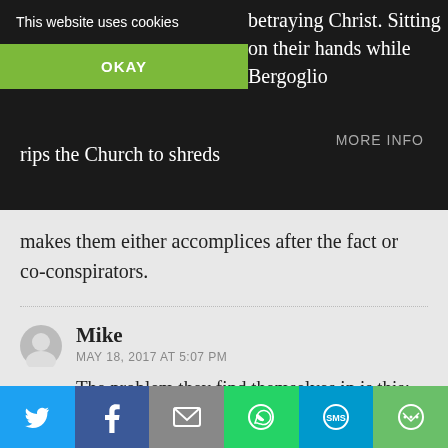betraying Christ. Sitting on their hands while Bergoglio rips the Church to shreds makes them either accomplices after the fact or co-conspirators.
This website uses cookies
OKAY
MORE INFO
Mike
MAY 18, 2017 AT 5:07 PM
The problem they find themselves in is this: They meant to correct the Pope, but sent the letter to Francis!